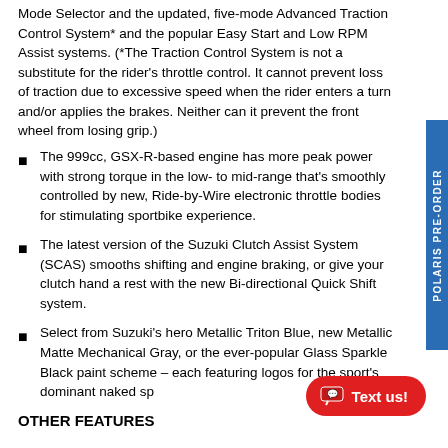Mode Selector and the updated, five-mode Advanced Traction Control System* and the popular Easy Start and Low RPM Assist systems. (*The Traction Control System is not a substitute for the rider's throttle control. It cannot prevent loss of traction due to excessive speed when the rider enters a turn and/or applies the brakes. Neither can it prevent the front wheel from losing grip.)
The 999cc, GSX-R-based engine has more peak power with strong torque in the low- to mid-range that's smoothly controlled by new, Ride-by-Wire electronic throttle bodies for stimulating sportbike experience.
The latest version of the Suzuki Clutch Assist System (SCAS) smooths shifting and engine braking, or give your clutch hand a rest with the new Bi-directional Quick Shift system.
Select from Suzuki's hero Metallic Triton Blue, new Metallic Matte Mechanical Gray, or the ever-popular Glass Sparkle Black paint scheme – each featuring logos for the sport's dominant naked sp...
OTHER FEATURES